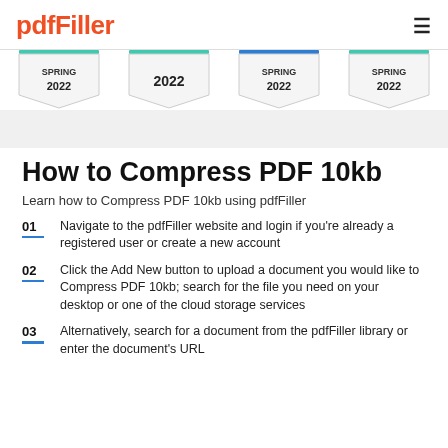pdfFiller
[Figure (infographic): Four award badges showing SPRING 2022 and 2022 labels in pentagon/shield shapes with colored top bars (teal, teal, blue, teal)]
How to Compress PDF 10kb
Learn how to Compress PDF 10kb using pdfFiller
01 Navigate to the pdfFiller website and login if you're already a registered user or create a new account
02 Click the Add New button to upload a document you would like to Compress PDF 10kb; search for the file you need on your desktop or one of the cloud storage services
03 Alternatively, search for a document from the pdfFiller library or enter the document's URL